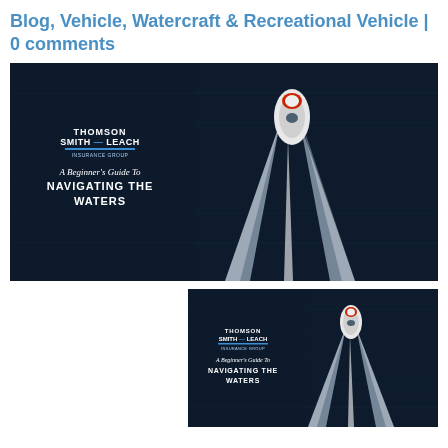Blog, Vehicle, Watercraft & Recreational Vehicle | 0 comments
[Figure (photo): Aerial view of a motorboat traveling on dark water leaving a white wake trail, with 'Thomson Smith & Leach – A Beginner's Guide To NAVIGATING THE WATERS' text overlay on the left side. Large version.]
[Figure (photo): Aerial view of a motorboat traveling on dark water leaving a white wake trail, with 'Thomson Smith & Leach – A Beginner's Guide To NAVIGATING THE WATERS' text overlay on the left side. Smaller version, right-aligned.]